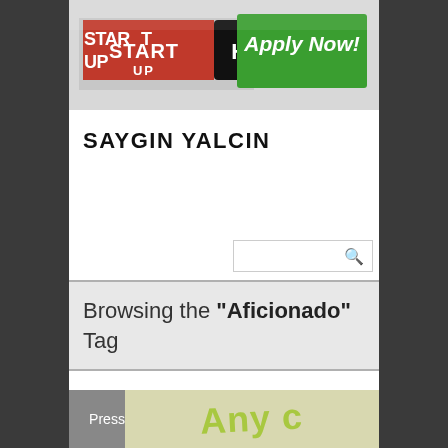[Figure (logo): StartupHero banner advertisement with 'Apply Now!' button on green background]
SAYGIN YALCIN
Browsing the "Aficionado" Tag
[Figure (screenshot): Press category strip with 'Any' text visible in yellow-green]